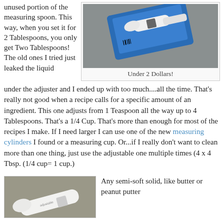unused portion of the measuring spoon. This way, when you set it for 2 Tablespoons, you only get Two Tablespoons! The old ones I tried just leaked the liquid
[Figure (photo): Photo of an adjustable measuring spoon in its packaging on a grey carpet background]
Under 2 Dollars!
under the adjuster and I ended up with too much....all the time. That's really not good when a recipe calls for a specific amount of an ingredient. This one adjusts from 1 Teaspoon all the way up to 4 Tablespoons. That's a 1/4 Cup. That's more than enough for most of the recipes I make. If I need larger I can use one of the new measuring cylinders I found or a measuring cup. Or...if I really don't want to clean more than one thing, just use the adjustable one multiple times (4 x 4 Tbsp. (1/4 cup= 1 cup.)
[Figure (photo): Photo of a white adjustable measuring spoon on a grey background]
Any semi-soft solid, like butter or peanut putte